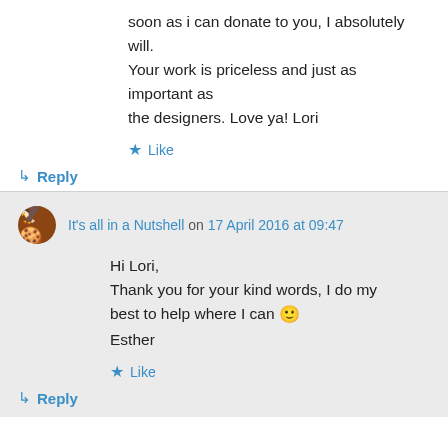soon as i can donate to you, I absolutely will. Your work is priceless and just as important as the designers. Love ya! Lori
★ Like
↳ Reply
It's all in a Nutshell on 17 April 2016 at 09:47
Hi Lori,
Thank you for your kind words, I do my best to help where I can 🙂
Esther
★ Like
↳ Reply